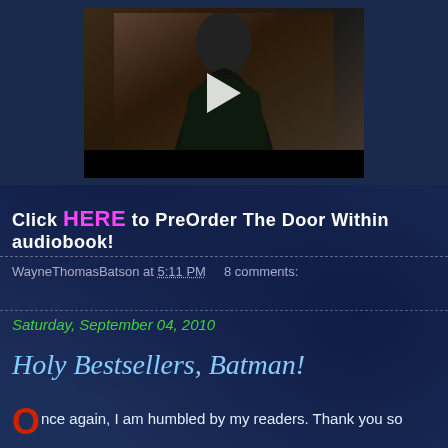[Figure (photo): Video thumbnail showing a man in a dark hooded jacket, with a play button overlay, inside a dark-framed video player with a black control bar at the bottom.]
Click HERE to PreOrder The Door Within audiobook!
WayneThomasBatson at 5:11 PM    8 comments:
Saturday, September 04, 2010
Holy Bestsellers, Batman!
Once again, I am humbled by my readers. Thank you so